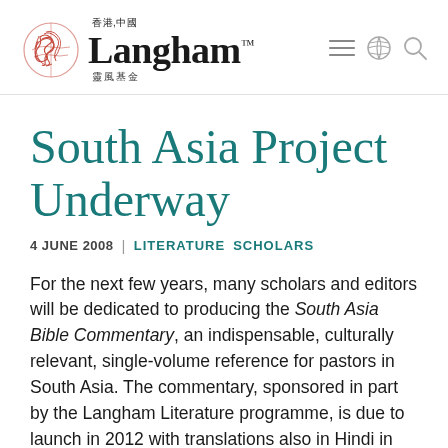香港,中國 Langham™ 靈風基金
South Asia Project Underway
4 JUNE 2008  |  LITERATURE  SCHOLARS
For the next few years, many scholars and editors will be dedicated to producing the South Asia Bible Commentary, an indispensable, culturally relevant, single-volume reference for pastors in South Asia. The commentary, sponsored in part by the Langham Literature programme, is due to launch in 2012 with translations also in Hindi in 2013 and later in Nepali...